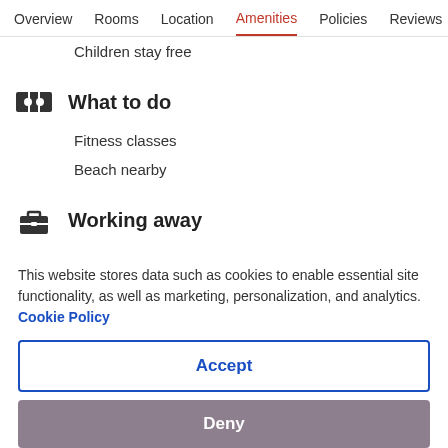Overview  Rooms  Location  Amenities  Policies  Reviews
Children stay free
What to do
Fitness classes
Beach nearby
Working away
Business centre
Meeting rooms
This website stores data such as cookies to enable essential site functionality, as well as marketing, personalization, and analytics. Cookie Policy
Accept
Deny